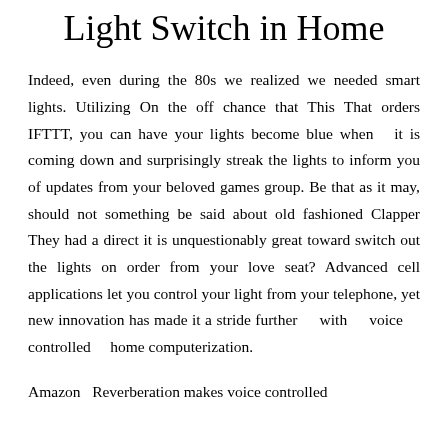Light Switch in Home
Indeed, even during the 80s we realized we needed smart lights. Utilizing On the off chance that This That orders IFTTT, you can have your lights become blue when  it is coming down and surprisingly streak the lights to inform you of updates from your beloved games group. Be that as it may, should not something be said about old fashioned Clapper They had a direct it is unquestionably great toward switch out the lights on order from your love seat? Advanced cell applications let you control your light from your telephone, yet new innovation has made it a stride further     with     voice     controlled     home computerization.
Amazon  Reverberation makes voice controlled